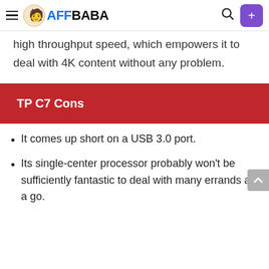AFFBABA
high throughput speed, which empowers it to deal with 4K content without any problem.
TP C7 Cons
It comes up short on a USB 3.0 port.
Its single-center processor probably won't be sufficiently fantastic to deal with many errands at a go.